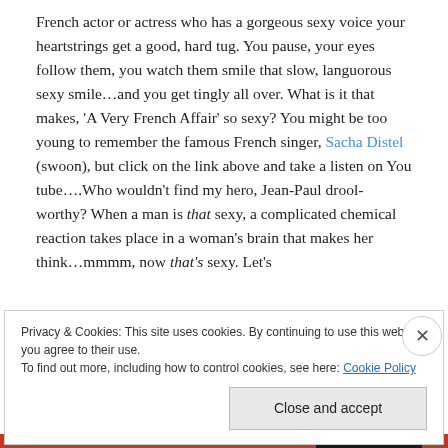French actor or actress who has a gorgeous sexy voice your heartstrings get a good, hard tug. You pause, your eyes follow them, you watch them smile that slow, languorous sexy smile…and you get tingly all over. What is it that makes, 'A Very French Affair' so sexy? You might be too young to remember the famous French singer, Sacha Distel (swoon), but click on the link above and take a listen on You tube….Who wouldn't find my hero, Jean-Paul drool-worthy? When a man is that sexy, a complicated chemical reaction takes place in a woman's brain that makes her think…mmmm, now that's sexy. Let's
Privacy & Cookies: This site uses cookies. By continuing to use this website, you agree to their use.
To find out more, including how to control cookies, see here: Cookie Policy